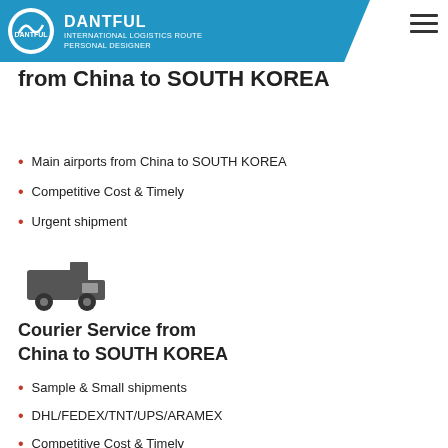DANTFUL INTERNATIONAL LOGISTICS ROUTE PERSONAL DESIGNER
from China to SOUTH KOREA
Main airports from China to SOUTH KOREA
Competitive Cost & Timely
Urgent shipment
[Figure (illustration): Delivery truck icon in dark grey]
Courier Service from China to SOUTH KOREA
Sample & Small shipments
DHL/FEDEX/TNT/UPS/ARAMEX
Competitive Cost & Timely